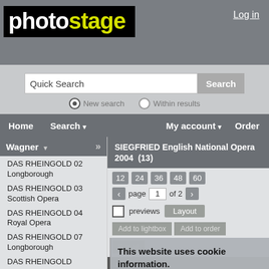[Figure (logo): photostage logo: 'photo' in white bold text, 'stage' in yellow bold text, on black background]
Log in
Quick Search
New search
Within results
Home  Search  My account  Order
Wagner
SIEGFRIED English National Opera 2004  (13)
DAS RHEINGOLD 02 Longborough
DAS RHEINGOLD 03 Scottish Opera
DAS RHEINGOLD 04 Royal Opera
DAS RHEINGOLD 07 Longborough
DAS RHEINGOLD 1989 Scottish Opera
DAS RHEINGOLD 1991 Royal Opera
12  24  36  48  60
page 1 of 2
previews  Layout
Add to lightbox  Add to order
E-mail
This website uses cookies information. Please read our privacy